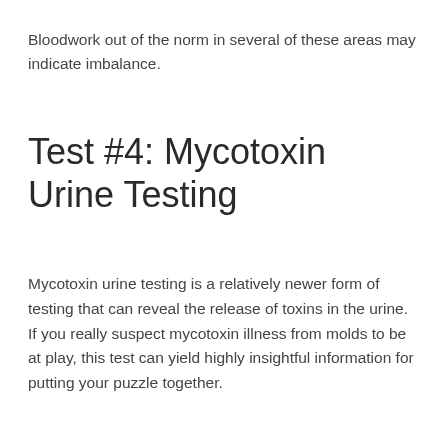Bloodwork out of the norm in several of these areas may indicate imbalance.
Test #4: Mycotoxin Urine Testing
Mycotoxin urine testing is a relatively newer form of testing that can reveal the release of toxins in the urine. If you really suspect mycotoxin illness from molds to be at play, this test can yield highly insightful information for putting your puzzle together.